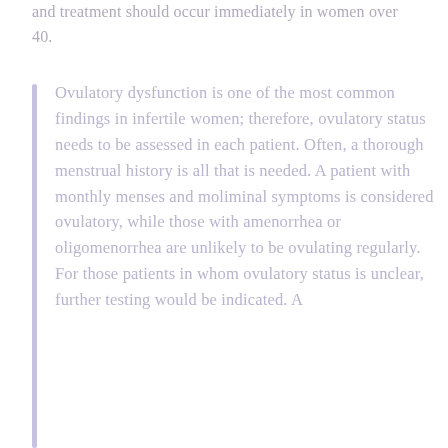and treatment should occur immediately in women over 40.
Ovulatory dysfunction is one of the most common findings in infertile women; therefore, ovulatory status needs to be assessed in each patient. Often, a thorough menstrual history is all that is needed. A patient with monthly menses and moliminal symptoms is considered ovulatory, while those with amenorrhea or oligomenorrhea are unlikely to be ovulating regularly. For those patients in whom ovulatory status is unclear, further testing would be indicated. A